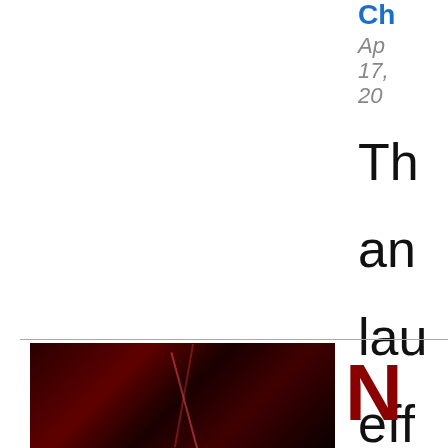Ch
Ap 17, 20
Th an lau eff
[Figure (photo): Dark red abstract photo with laser/light lines, possibly concert or performance lighting]
N